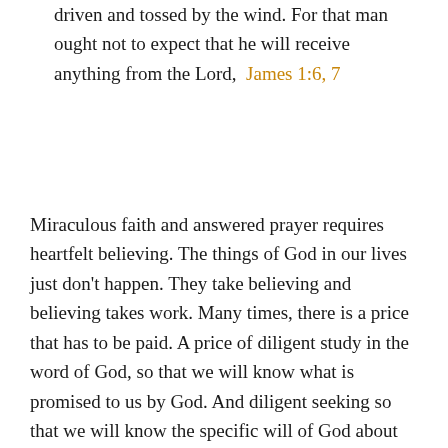driven and tossed by the wind. For that man ought not to expect that he will receive anything from the Lord,  James 1:6, 7
Miraculous faith and answered prayer requires heartfelt believing. The things of God in our lives just don't happen. They take believing and believing takes work. Many times, there is a price that has to be paid. A price of diligent study in the word of God, so that we will know what is promised to us by God. And diligent seeking so that we will know the specific will of God about what we want. Only seeking brings hearing and only hearing brings faith.